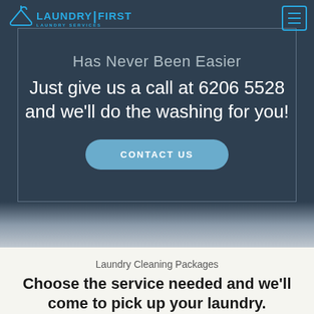Laundry First - Laundry Services
Has Never Been Easier
Just give us a call at 6206 5528 and we'll do the washing for you!
CONTACT US
Laundry Cleaning Packages
Choose the service needed and we'll come to pick up your laundry.